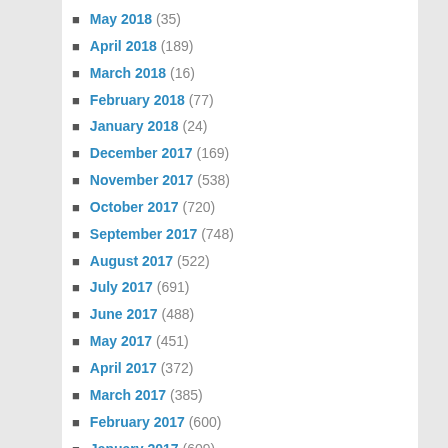May 2018 (35)
April 2018 (189)
March 2018 (16)
February 2018 (77)
January 2018 (24)
December 2017 (169)
November 2017 (538)
October 2017 (720)
September 2017 (748)
August 2017 (522)
July 2017 (691)
June 2017 (488)
May 2017 (451)
April 2017 (372)
March 2017 (385)
February 2017 (600)
January 2017 (609)
December 2016 (454)
November 2016 (223)
October 2016 (60)
September 2016 (97)